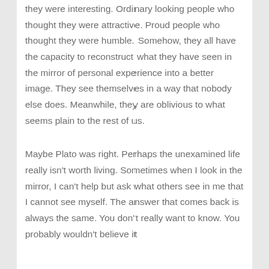they were interesting. Ordinary looking people who thought they were attractive. Proud people who thought they were humble. Somehow, they all have the capacity to reconstruct what they have seen in the mirror of personal experience into a better image. They see themselves in a way that nobody else does. Meanwhile, they are oblivious to what seems plain to the rest of us.
Maybe Plato was right. Perhaps the unexamined life really isn't worth living. Sometimes when I look in the mirror, I can't help but ask what others see in me that I cannot see myself. The answer that comes back is always the same. You don't really want to know. You probably wouldn't believe it